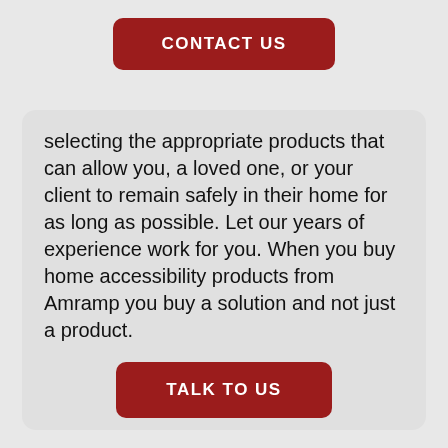[Figure (other): Red rounded rectangle button labeled CONTACT US]
selecting the appropriate products that can allow you, a loved one, or your client to remain safely in their home for as long as possible. Let our years of experience work for you. When you buy home accessibility products from Amramp you buy a solution and not just a product.
[Figure (other): Red rounded rectangle button labeled TALK TO US]